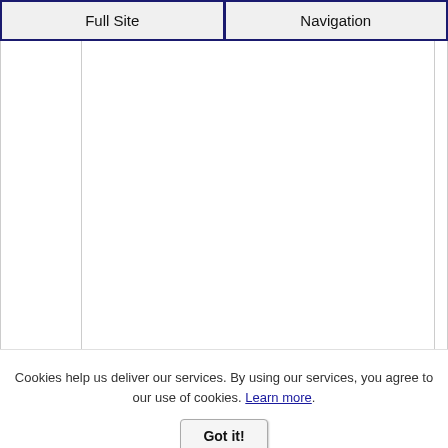Full Site | Navigation
Cookies help us deliver our services. By using our services, you agree to our use of cookies. Learn more. Got it!